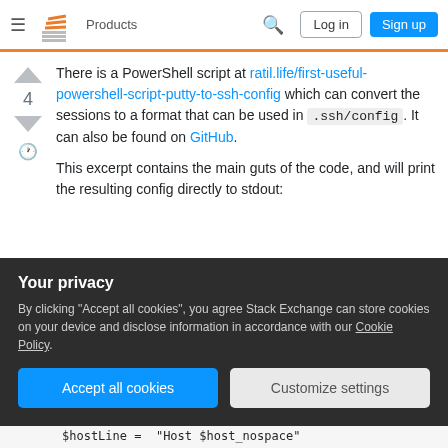Stack Overflow — hamburger menu | Products | Search | Log in | Sign up
There is a PowerShell script at ratil.life/first-useful-powershell-script-putty-to-ssh-config which can convert the sessions to a format that can be used in .ssh/config . It can also be found on GitHub.
This excerpt contains the main guts of the code, and will print the resulting config directly to stdout:
# Registry path to PuTTY configured profile
$regPath = 'HKCU:\SOFTWARE\SimonTatham\PuTT
Your privacy
By clicking "Accept all cookies", you agree Stack Exchange can store cookies on your device and disclose information in accordance with our Cookie Policy.
Accept all cookies | Customize settings
$hostLine = "Host $host_nospace"